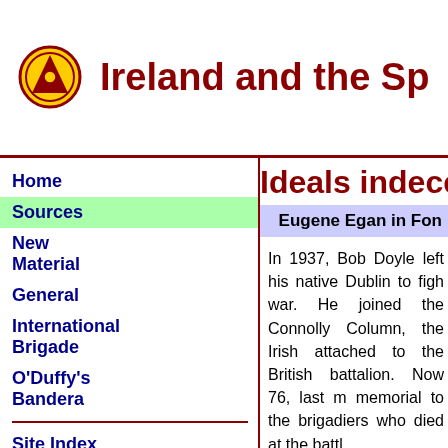Ireland and the Sp
Ideals indece
Eugene Egan in Fon
In 1937, Bob Doyle left his native Dublin to figh war. He joined the Connolly Column, the Irish attached to the British battalion. Now 76, last m memorial to the brigadiers who died at the battl
According to Mr. Doyle, the bodies of his com grave in Morata de Tajuna. His journey back to for broadcast in October.
Nineteen Irishmen died in the battle of Jarama distinction - it was the death of one of them, Ki the struggle.
"I shared a room with Kit Conway in Dublin. A Congress. He was a man I admired, so whe